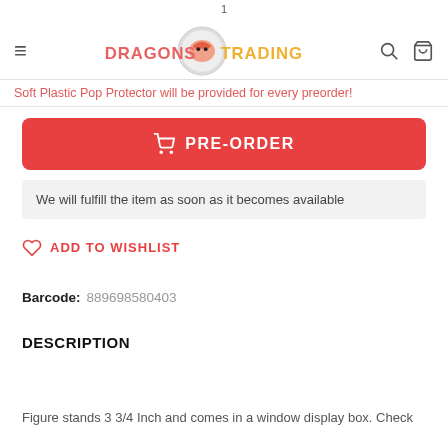1 | Dragons Trading — navigation header
Soft Plastic Pop Protector will be provided for every preorder!
PRE-ORDER
We will fulfill the item as soon as it becomes available
ADD TO WISHLIST
Barcode: 889698580403
DESCRIPTION
Figure stands 3 3/4 Inch and comes in a window display box. Check